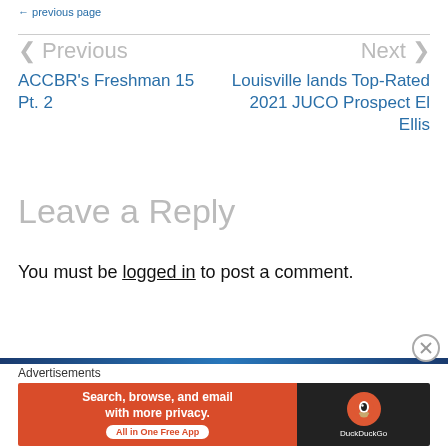< Previous  |  Next >
< Previous
ACCBR's Freshman 15 Pt. 2
Next >
Louisville lands Top-Rated 2021 JUCO Prospect El Ellis
Leave a Reply
You must be logged in to post a comment.
Advertisements
[Figure (other): DuckDuckGo advertisement banner: orange left panel with text 'Search, browse, and email with more privacy. All in One Free App' and dark right panel with DuckDuckGo logo and name.]